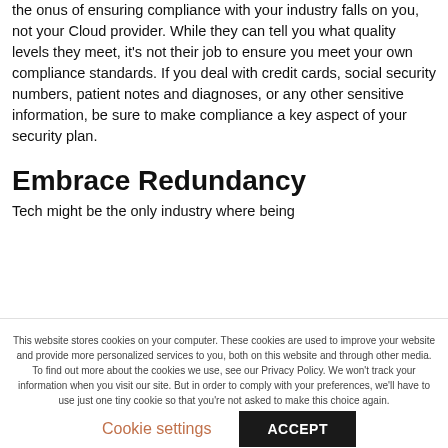the onus of ensuring compliance with your industry falls on you, not your Cloud provider. While they can tell you what quality levels they meet, it's not their job to ensure you meet your own compliance standards. If you deal with credit cards, social security numbers, patient notes and diagnoses, or any other sensitive information, be sure to make compliance a key aspect of your security plan.
Embrace Redundancy
Tech might be the only industry where being
This website stores cookies on your computer. These cookies are used to improve your website and provide more personalized services to you, both on this website and through other media. To find out more about the cookies we use, see our Privacy Policy. We won't track your information when you visit our site. But in order to comply with your preferences, we'll have to use just one tiny cookie so that you're not asked to make this choice again.
Cookie settings
ACCEPT